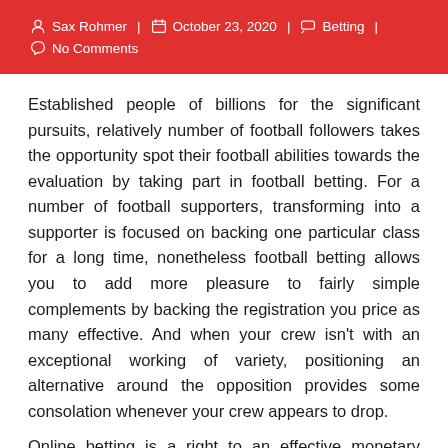Sax Rohmer | October 23, 2020 | Betting | No Comments
Established people of billions for the significant pursuits, relatively number of football followers takes the opportunity spot their football abilities towards the evaluation by taking part in football betting. For a number of football supporters, transforming into a supporter is focused on backing one particular class for a long time, nonetheless football betting allows you to add more pleasure to fairly simple complements by backing the registration you price as many effective. And when your crew isn't with an exceptional working of variety, positioning an alternative around the opposition provides some consolation whenever your crew appears to drop.
Online betting is a right to an effective monetary option and